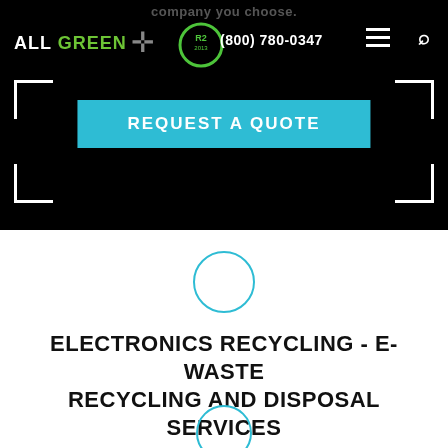company you choose.
[Figure (logo): All Green logo with green plus sign and R2 certification badge]
(800) 780-0347
[Figure (infographic): REQUEST A QUOTE button in cyan/teal color]
[Figure (illustration): Small circle outline icon in teal]
ELECTRONICS RECYCLING - E-WASTE RECYCLING AND DISPOSAL SERVICES PROVIDED GLOBALLY
[Figure (illustration): Small circle outline icon in teal at bottom]